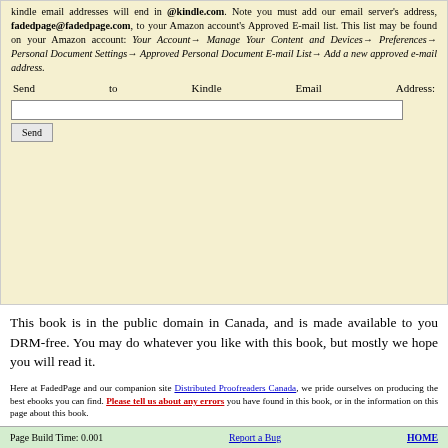kindle email addresses will end in @kindle.com. Note you must add our email server's address, fadedpage@fadedpage.com, to your Amazon account's Approved E-mail list. This list may be found on your Amazon account: Your Account→ Manage Your Content and Devices→ Preferences→ Personal Document Settings→ Approved Personal Document E-mail List→ Add a new approved e-mail address.
Send to Kindle Email Address: [input field] [Send button]
This book is in the public domain in Canada, and is made available to you DRM-free. You may do whatever you like with this book, but mostly we hope you will read it.
Here at FadedPage and our companion site Distributed Proofreaders Canada, we pride ourselves on producing the best ebooks you can find. Please tell us about any errors you have found in this book, or in the information on this page about this book.
Page Build Time: 0.001    Report a Bug    HOME